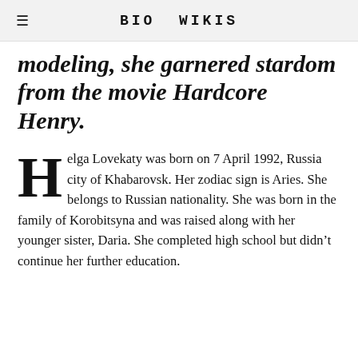BIO WIKIS
modeling, she garnered stardom from the movie Hardcore Henry.
Helga Lovekaty was born on 7 April 1992, Russia city of Khabarovsk. Her zodiac sign is Aries. She belongs to Russian nationality. She was born in the family of Korobitsyna and was raised along with her younger sister, Daria. She completed high school but didn't continue her further education.